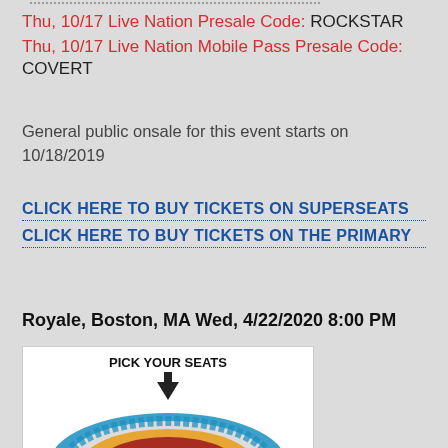Thu, 10/17 Live Nation Presale Code: ROCKSTAR
Thu, 10/17 Live Nation Mobile Pass Presale Code: COVERT
General public onsale for this event starts on 10/18/2019
CLICK HERE TO BUY TICKETS ON SUPERSEATS
CLICK HERE TO BUY TICKETS ON THE PRIMARY
Royale, Boston, MA Wed, 4/22/2020 8:00 PM
[Figure (illustration): SuperSeats venue seat map widget with PICK YOUR SEATS label, down arrow, circular venue seating chart with blue, red, orange and gray sections, and SuperSeats logo at bottom.]